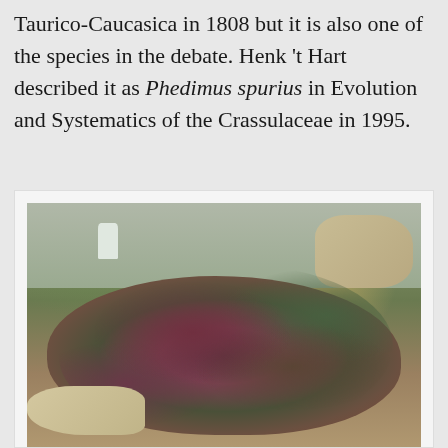Taurico-Caucasica in 1808 but it is also one of the species in the debate. Henk 't Hart described it as Phedimus spurius in Evolution and Systematics of the Crassulaceae in 1995.
[Figure (photo): A photograph of a low-growing succulent plant (Phedimus spurius) with dark reddish-green leaves spreading over rocks in a garden setting. A plastic bottle is visible in the background, along with stones and other vegetation.]